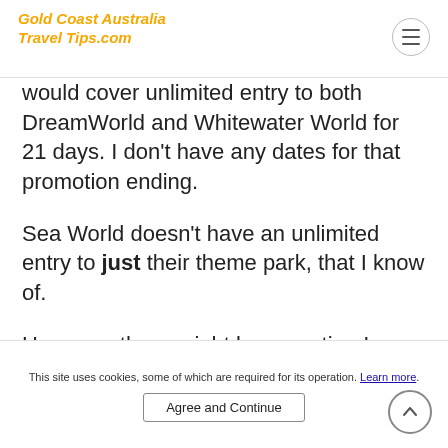Gold Coast Australia Travel Tips.com
would cover unlimited entry to both DreamWorld and Whitewater World for 21 days. I don't have any dates for that promotion ending.
Sea World doesn't have an unlimited entry to just their theme park, that I know of.
However, there might be an option I can suggest now, that you can consider and hopefully the theme parks will come out with their pass options for after 30 June...
Since you sound like you are visiting during
This site uses cookies, some of which are required for its operation. Learn more. Agree and Continue